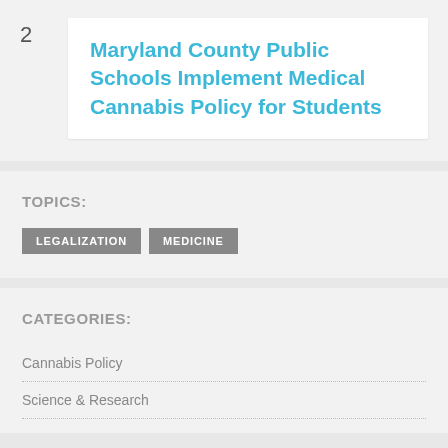2
Maryland County Public Schools Implement Medical Cannabis Policy for Students
TOPICS:
LEGALIZATION  MEDICINE
CATEGORIES:
Cannabis Policy
Science & Research